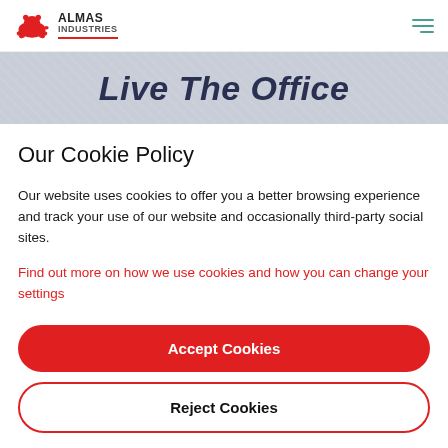ALMAS INDUSTRIES
Live The Office
Our Cookie Policy
Our website uses cookies to offer you a better browsing experience and track your use of our website and occasionally third-party social sites.
Find out more on how we use cookies and how you can change your settings
Accept Cookies
Reject Cookies